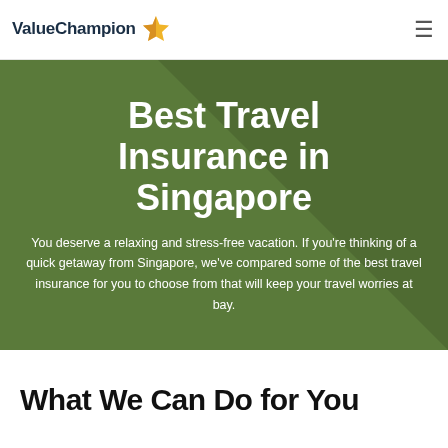ValueChampion
Best Travel Insurance in Singapore
You deserve a relaxing and stress-free vacation. If you're thinking of a quick getaway from Singapore, we've compared some of the best travel insurance for you to choose from that will keep your travel worries at bay.
What We Can Do for You